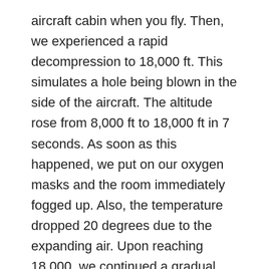aircraft cabin when you fly. Then, we experienced a rapid decompression to 18,000 ft. This simulates a hole being blown in the side of the aircraft. The altitude rose from 8,000 ft to 18,000 ft in 7 seconds. As soon as this happened, we put on our oxygen masks and the room immediately fogged up. Also, the temperature dropped 20 degrees due to the expanding air. Upon reaching 18,000, we continued a gradual climb to 25,000. At 25,000 ft, we all took off our masks to see what it feels like to be hypoxic. After 5 minutes, my head was tingling, my lips turned blue, and I was lightheaded. It was a very interesting feeling, something you don't want to experience while you are at the controls of an aircraft. After experiencing hypoxia, we all put our oxygen masks on and immediately all of the symptoms were cured. It was amazing how fast you are back to your normal self. We then finished our flight with a gradual descent back to earth. What a fun day! We left the FAA facility at 4:30